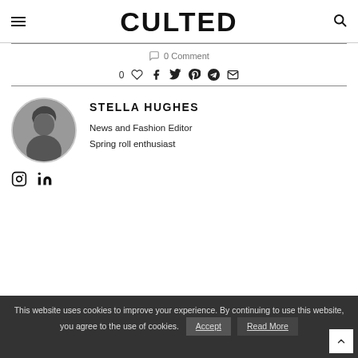CULTED
0 Comment
0 ♡  f  t  p  ➤  ✉
[Figure (photo): Circular avatar photo of Stella Hughes in black and white]
STELLA HUGHES
News and Fashion Editor
Spring roll enthusiast
Instagram and LinkedIn icons
This website uses cookies to improve your experience. By continuing to use this website, you agree to the use of cookies.  Accept  Read More